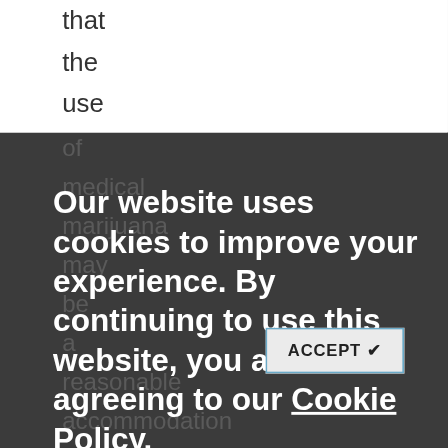that
the
use
of
medical
marijuana
may
be
a
reasonable
accommodation
under
state
law
so
long
as
Our website uses cookies to improve your experience. By continuing to use this website, you are agreeing to our Cookie Policy.
ACCEPT ✔